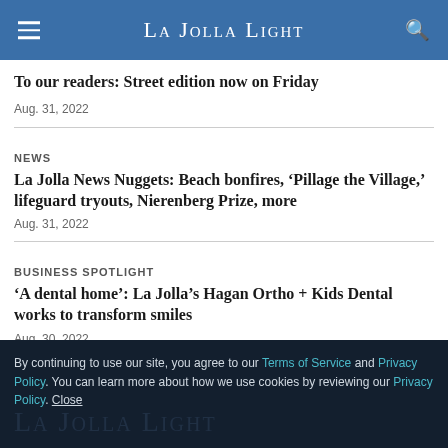La Jolla Light
To our readers: Street edition now on Friday
Aug. 31, 2022
NEWS
La Jolla News Nuggets: Beach bonfires, ‘Pillage the Village,’ lifeguard tryouts, Nierenberg Prize, more
Aug. 31, 2022
BUSINESS SPOTLIGHT
‘A dental home’: La Jolla’s Hagan Ortho + Kids Dental works to transform smiles
Aug. 30, 2022
By continuing to use our site, you agree to our Terms of Service and Privacy Policy. You can learn more about how we use cookies by reviewing our Privacy Policy. Close